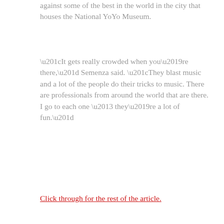against some of the best in the world in the city that houses the National YoYo Museum.
“It gets really crowded when you’re there,” Semenza said. “They blast music and a lot of the people do their tricks to music. There are professionals from around the world that are there. I go to each one – they’re a lot of fun.”
Click through for the rest of the article.
[Figure (photo): Young man wearing large dark sunglasses with brown hair, standing in what appears to be an indoor venue with other people in the background.]